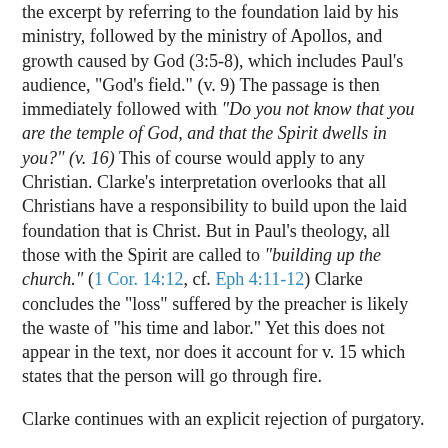the excerpt by referring to the foundation laid by his ministry, followed by the ministry of Apollos, and growth caused by God (3:5-8), which includes Paul's audience, "God's field." (v. 9) The passage is then immediately followed with "Do you not know that you are the temple of God, and that the Spirit dwells in you?" (v. 16) This of course would apply to any Christian. Clarke's interpretation overlooks that all Christians have a responsibility to build upon the laid foundation that is Christ. But in Paul's theology, all those with the Spirit are called to "building up the church." (1 Cor. 14:12, cf. Eph 4:11-12) Clarke concludes the "loss" suffered by the preacher is likely the waste of "his time and labor." Yet this does not appear in the text, nor does it account for v. 15 which states that the person will go through fire.
Clarke continues with an explicit rejection of purgatory.
The popish writers have applied what is here spoken to the fire of purgatory ... The fire mentioned here is to try the man's work, not to purify his soul; but the dream of purgatory refers to the purging in another state what left this impure; not the work of the man, but the man